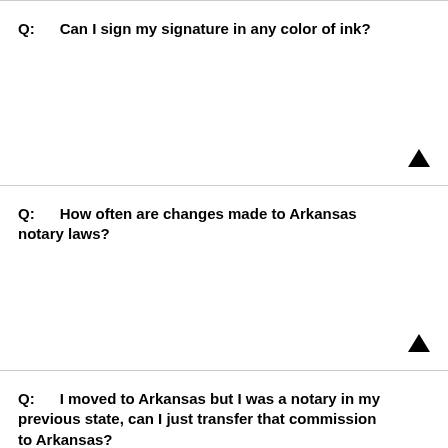Q:     Can I sign my signature in any color of ink?
Q:     How often are changes made to Arkansas notary laws?
Q:     I moved to Arkansas but I was a notary in my previous state, can I just transfer that commission to Arkansas?